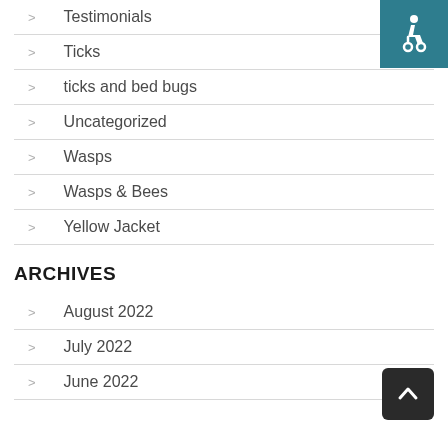Testimonials
Ticks
ticks and bed bugs
Uncategorized
Wasps
Wasps & Bees
Yellow Jacket
ARCHIVES
August 2022
July 2022
June 2022
[Figure (illustration): Accessibility icon (wheelchair symbol) on teal background, top-right corner]
[Figure (illustration): Back to top button (upward chevron) dark background, bottom-right corner]